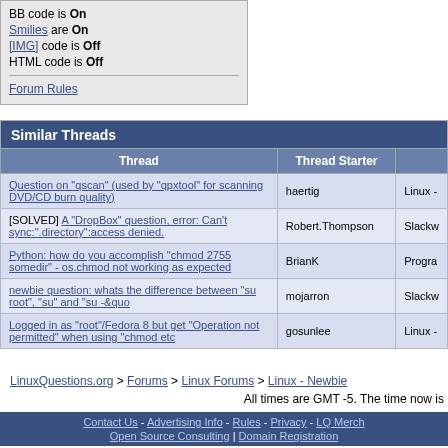| BB code is On |
| Smilies are On |
| [IMG] code is Off |
| HTML code is Off |
| Forum Rules |
Similar Threads
| Thread | Thread Starter |  |
| --- | --- | --- |
| Question on "qscan" (used by "qpxtool" for scanning DVD/CD burn quality) | haertig | Linux - |
| [SOLVED] A "DropBox" question, error: Can't sync:".directory":access denied. | Robert.Thompson | Slackw |
| Python: how do you accomplish "chmod 2755 somedir" - os.chmod not working as expected | BrianK | Progra |
| newbie question: whats the difference between "su root", "su" and "su -&quo | mojarron | Slackw |
| Logged in as "root"/Fedora 8 but get "Operation not permitted" when using "chmod etc | gosunlee | Linux - |
LinuxQuestions.org > Forums > Linux Forums > Linux - Newbie
All times are GMT -5. The time now is
Contact Us - Advertising Info - Rules - Privacy - LQ Merch | Open Source Consulting | Domain Registration